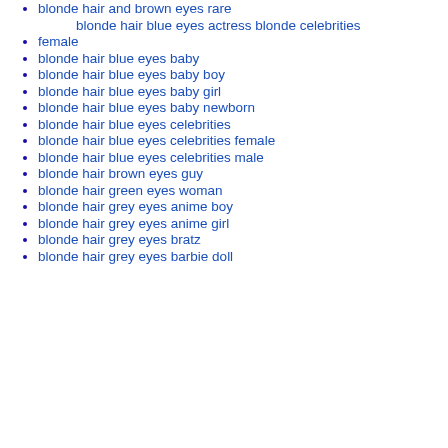blonde hair and brown eyes rare
blonde hair blue eyes actress blonde celebrities
female
blonde hair blue eyes baby
blonde hair blue eyes baby boy
blonde hair blue eyes baby girl
blonde hair blue eyes baby newborn
blonde hair blue eyes celebrities
blonde hair blue eyes celebrities female
blonde hair blue eyes celebrities male
blonde hair brown eyes guy
blonde hair green eyes woman
blonde hair grey eyes anime boy
blonde hair grey eyes anime girl
blonde hair grey eyes bratz
blonde hair grey eyes barbie doll